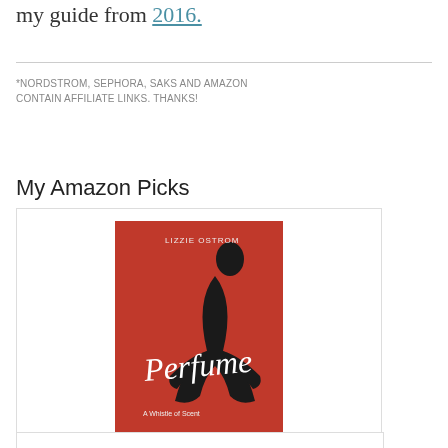my guide from 2016.
*NORDSTROM, SEPHORA, SAKS AND AMAZON CONTAIN AFFILIATE LINKS. THANKS!
My Amazon Picks
[Figure (photo): Book cover of 'Perfume' by Lizzie Ostrom on a red background with an illustrated woman figure]
Perfume
$13.99
(80)